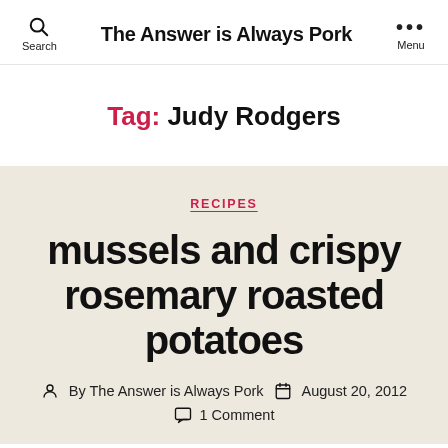The Answer is Always Pork
Tag: Judy Rodgers
RECIPES
mussels and crispy rosemary roasted potatoes
By The Answer is Always Pork   August 20, 2012
1 Comment